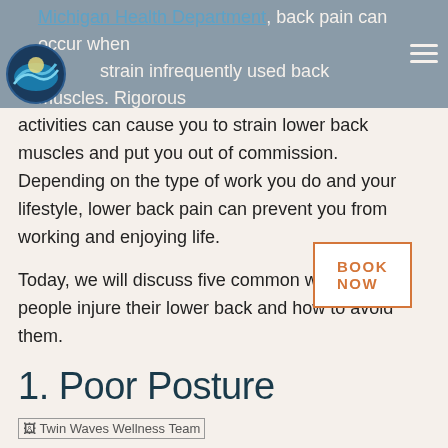Michigan Health Department, back pain can occur when strain infrequently used back muscles. Rigorous
activities can cause you to strain lower back muscles and put you out of commission. Depending on the type of work you do and your lifestyle, lower back pain can prevent you from working and enjoying life.
Today, we will discuss five common ways that people injure their lower back and how to avoid them.
1. Poor Posture
[Figure (photo): Twin Waves Wellness Team image placeholder]
BOOK NOW
Poor posture is a huge contributor to people injuring their